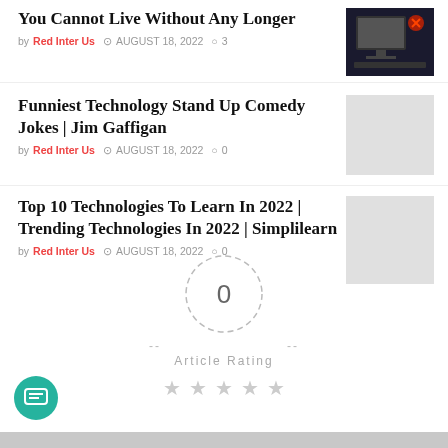You Cannot Live Without Any Longer
by Red Inter Us  AUGUST 18, 2022  3
Funniest Technology Stand Up Comedy Jokes | Jim Gaffigan
by Red Inter Us  AUGUST 18, 2022  0
Top 10 Technologies To Learn In 2022 | Trending Technologies In 2022 | Simplilearn
by Red Inter Us  AUGUST 18, 2022  0
[Figure (infographic): Article rating widget showing 0 in a dashed circle with Article Rating label and 5 empty stars below]
[Figure (illustration): Teal chat/message button icon in bottom left corner]